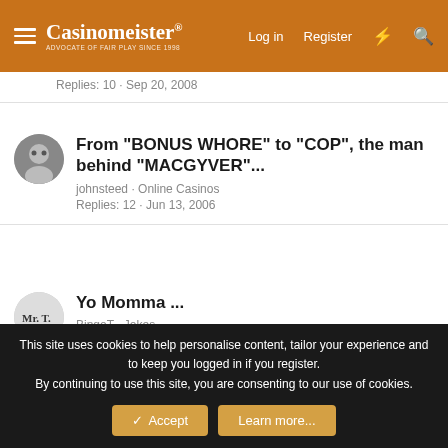Casinomeister · Log in · Register
Replies: 10 · Sep 20, 2008
From "BONUS WHORE" to "COP", the man behind "MACGYVER"...
johnsteed · Online Casinos
Replies: 12 · Jun 13, 2006
Yo Momma ...
BingoT · Jokes
Replies: 0 · May 28, 2009
Users who are viewing this thread
Total: 2 (members: 0, guests: 2)
This site uses cookies to help personalise content, tailor your experience and to keep you logged in if you register.
By continuing to use this site, you are consenting to our use of cookies.